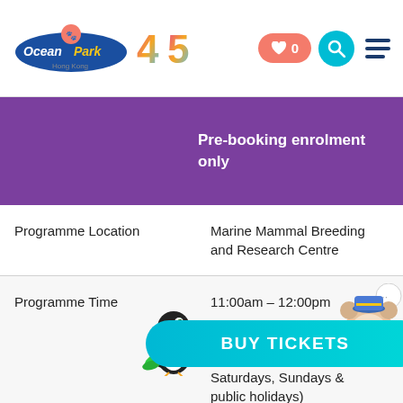Ocean Park Hong Kong - 45th Anniversary
|  |  |
| --- | --- |
|  | Pre-booking enrolment only |
| Programme Location | Marine Mammal Breeding and Research Centre |
| Programme Time | 11:00am – 12:00pm
(In August: Available on Wednesdays, Fridays, Saturdays, Sundays & public holidays)
(In September & October: Available on Thursdays, Fridays, Saturdays, & public holidays) |
| Gathering Location | Inside Marine Mammal... |
[Figure (illustration): Cartoon toucan mascot at the bottom left]
[Figure (illustration): Cartoon seal/mouse mascot with chat bubble, top right of programme time row]